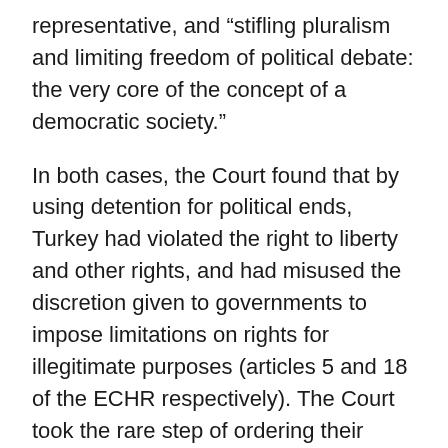representative, and “stifling pluralism and limiting freedom of political debate: the very core of the concept of a democratic society.”
In both cases, the Court found that by using detention for political ends, Turkey had violated the right to liberty and other rights, and had misused the discretion given to governments to impose limitations on rights for illegitimate purposes (articles 5 and 18 of the ECHR respectively). The Court took the rare step of ordering their immediate release.
Despite the fact that the landmark judgments are legally binding, the Turkish authorities have snubbed the Strasbourg court and ignored the Committee of Ministers’ decisions calling for the men’s release.
“Turkish prosecutors and judges have sought to circumvent the authority of the European Court by